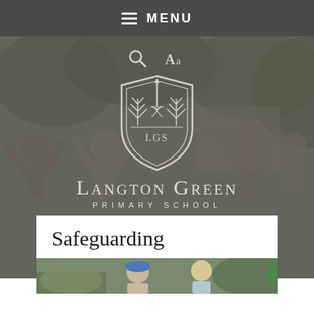MENU
[Figure (logo): Langton Green Primary School crest logo with LGS initials, shield shape with trees, in grey/white on dark background]
LANGTON GREEN PRIMARY SCHOOL
Safeguarding
[Figure (photo): Children outdoors with greenery in background, partial view at bottom of page]